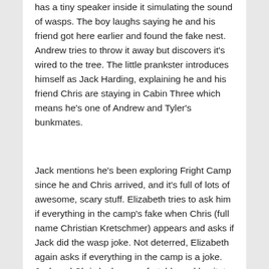has a tiny speaker inside it simulating the sound of wasps. The boy laughs saying he and his friend got here earlier and found the fake nest. Andrew tries to throw it away but discovers it's wired to the tree. The little prankster introduces himself as Jack Harding, explaining he and his friend Chris are staying in Cabin Three which means he's one of Andrew and Tyler's bunkmates.
Jack mentions he's been exploring Fright Camp since he and Chris arrived, and it's full of lots of awesome, scary stuff. Elizabeth tries to ask him if everything in the camp's fake when Chris (full name Christian Kretschmer) appears and asks if Jack did the wasp joke. Not deterred, Elizabeth again asks if everything in the camp is a joke. Jack and Chris look uncomfortable and hesitate to